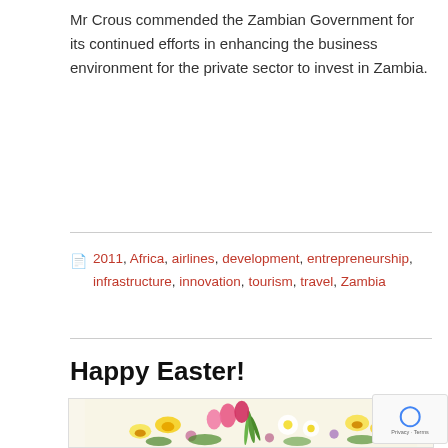Mr Crous commended the Zambian Government for its continued efforts in enhancing the business environment for the private sector to invest in Zambia.
2011, Africa, airlines, development, entrepreneurship, infrastructure, innovation, tourism, travel, Zambia
Happy Easter!
[Figure (illustration): Easter flower bouquet illustration with colorful flowers including tulips, daffodils, and daisies in yellow, pink, and white colors on a light background]